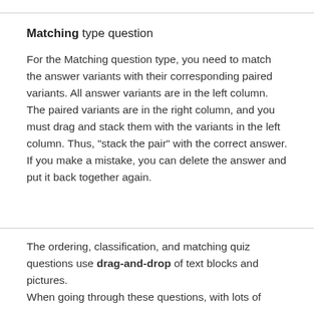Matching type question
For the Matching question type, you need to match the answer variants with their corresponding paired variants. All answer variants are in the left column. The paired variants are in the right column, and you must drag and stack them with the variants in the left column. Thus, "stack the pair" with the correct answer. If you make a mistake, you can delete the answer and put it back together again.
The ordering, classification, and matching quiz questions use drag-and-drop of text blocks and pictures.
When going through these questions, with lots of